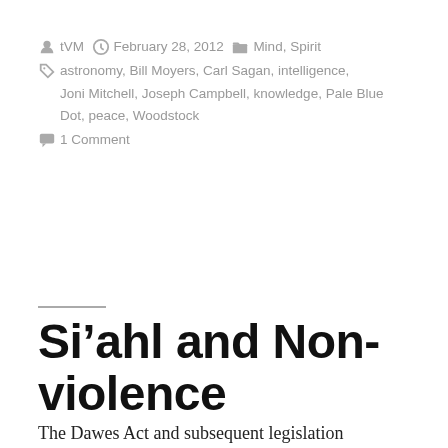posted by tVM  February 28, 2012  Mind, Spirit  astronomy, Bill Moyers, Carl Sagan, intelligence, Joni Mitchell, Joseph Campbell, knowledge, Pale Blue Dot, peace, Woodstock  1 Comment
Si'ahl and Non-violence
The Dawes Act and subsequent legislation